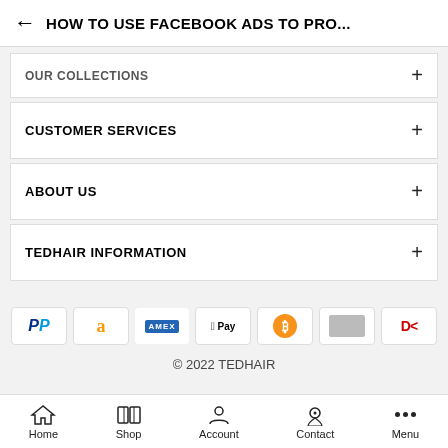← HOW TO USE FACEBOOK ADS TO PRO...
OUR COLLECTIONS +
CUSTOMER SERVICES +
ABOUT US +
TEDHAIR INFORMATION +
[Figure (other): Payment method icons: PayPal, Amazon, American Express, Apple Pay, Bitcoin, generic card, Diners Club]
© 2022 TEDHAIR
Home  Shop  Account  Contact  Menu